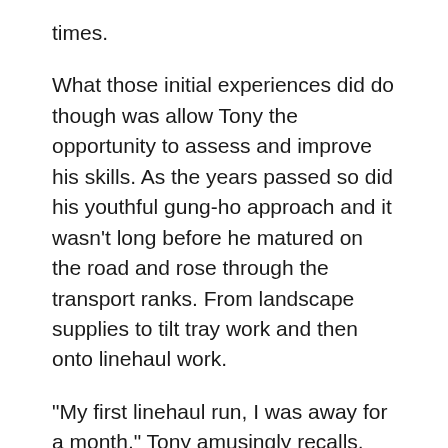times.
What those initial experiences did do though was allow Tony the opportunity to assess and improve his skills. As the years passed so did his youthful gung-ho approach and it wasn’t long before he matured on the road and rose through the transport ranks. From landscape supplies to tilt tray work and then onto linehaul work.
“My first linehaul run, I was away for a month,” Tony amusingly recalls. The job entailed transporting equipment around Australia for a music festival.
Now, while he was getting involved in his trucking, Tony, being a Victorian, was also heavily